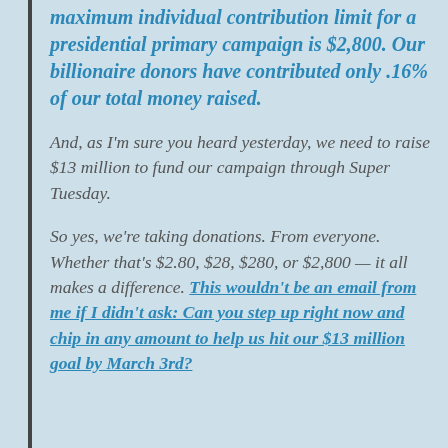maximum individual contribution limit for a presidential primary campaign is $2,800. Our billionaire donors have contributed only .16% of our total money raised.
And, as I'm sure you heard yesterday, we need to raise $13 million to fund our campaign through Super Tuesday.
So yes, we're taking donations. From everyone. Whether that's $2.80, $28, $280, or $2,800 — it all makes a difference. This wouldn't be an email from me if I didn't ask: Can you step up right now and chip in any amount to help us hit our $13 million goal by March 3rd?